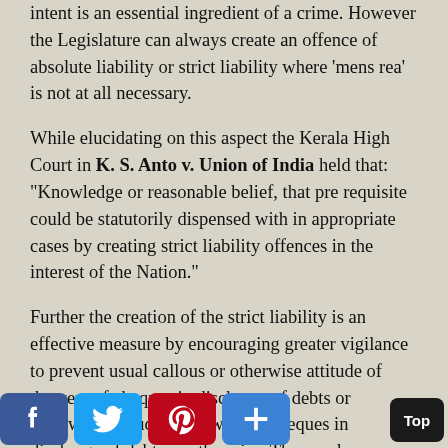intent is an essential ingredient of a crime. However the Legislature can always create an offence of absolute liability or strict liability where 'mens rea' is not at all necessary.
While elucidating on this aspect the Kerala High Court in K. S. Anto v. Union of India held that:
"Knowledge or reasonable belief, that pre requisite could be statutorily dispensed with in appropriate cases by creating strict liability offences in the interest of the Nation."
Further the creation of the strict liability is an effective measure by encouraging greater vigilance to prevent usual callous or otherwise attitude of drawers of cheques in discharge of debts or otherwise attitude of drawers of cheques in discharge of debts or otherwise. The words as appearing in clause (b) of S. 138 cannot be construed lure without reasonable the explicit language in ion is couched, the